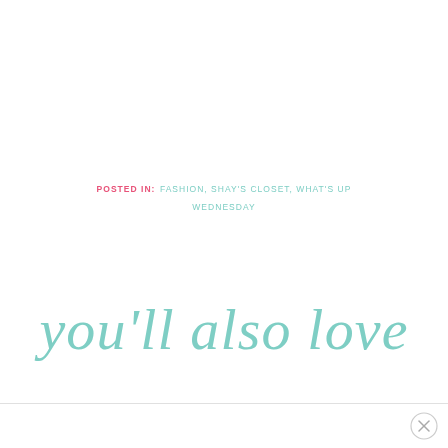POSTED IN: FASHION, SHAY'S CLOSET, WHAT'S UP WEDNESDAY
you'll also love